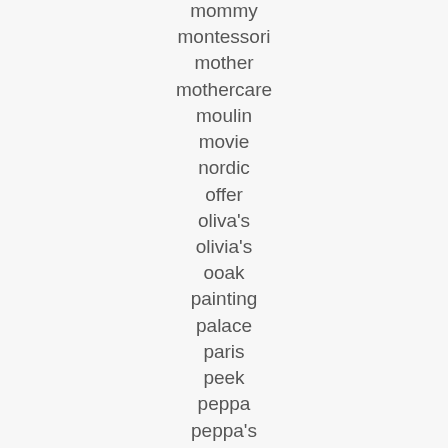mommy
montessori
mother
mothercare
moulin
movie
nordic
offer
oliva's
olivia's
ooak
painting
palace
paris
peek
peppa
peppa's
personalised
personalized
pieces
pink